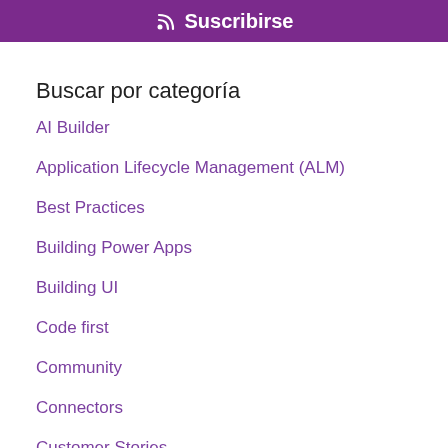Suscribirse
Buscar por categoría
AI Builder
Application Lifecycle Management (ALM)
Best Practices
Building Power Apps
Building UI
Code first
Community
Connectors
Customer Stories
Dataverse
Dynamics 365